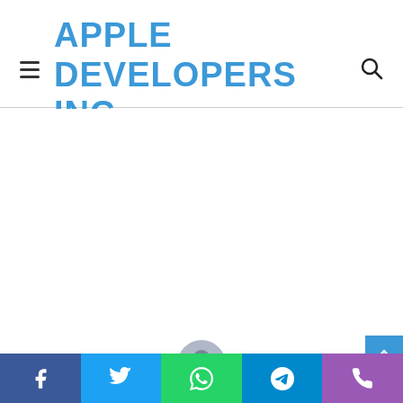APPLE DEVELOPERS INC
[Figure (screenshot): Empty white content area below the header]
Facebook | Twitter | WhatsApp | Telegram | Phone